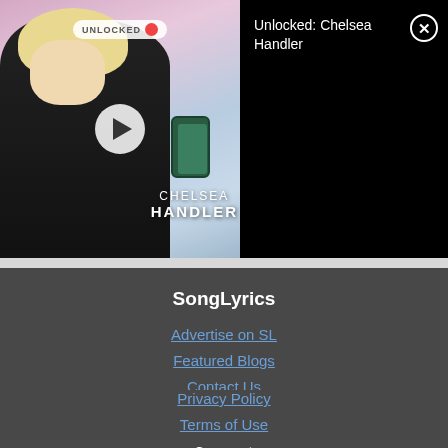[Figure (screenshot): Video thumbnail showing a blonde woman holding a phone against a pink/blue background, with 'CHELSEA HANDLER' text overlay, an UNLOCKED badge, and a play button. The right side shows a black panel with the title 'Unlocked: Chelsea Handler' and a close (X) button.]
SongLyrics
Advertise on SL
Featured Blogs
Contact Us
Music News
Privacy Policy
Terms of Use
Connect